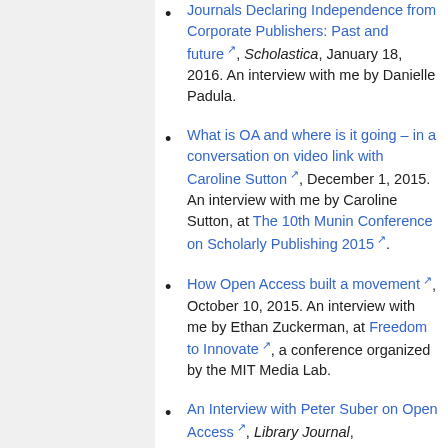Journals Declaring Independence from Corporate Publishers: Past and future, Scholastica, January 18, 2016. An interview with me by Danielle Padula.
What is OA and where is it going – in a conversation on video link with Caroline Sutton, December 1, 2015. An interview with me by Caroline Sutton, at The 10th Munin Conference on Scholarly Publishing 2015.
How Open Access built a movement, October 10, 2015. An interview with me by Ethan Zuckerman, at Freedom to Innovate, a conference organized by the MIT Media Lab.
An Interview with Peter Suber on Open Access, Library Journal,